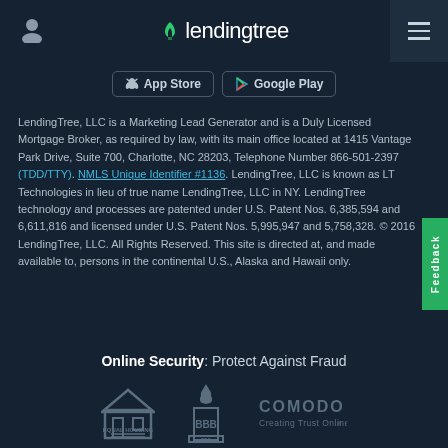lendingtree
[Figure (screenshot): App Store and Google Play download buttons]
LendingTree, LLC is a Marketing Lead Generator and is a Duly Licensed Mortgage Broker, as required by law, with its main office located at 1415 Vantage Park Drive, Suite 700, Charlotte, NC 28203, Telephone Number 866-501-2397 (TDD/TTY). NMLS Unique Identifier #1136. LendingTree, LLC is known as LT Technologies in lieu of true name LendingTree, LLC in NY. LendingTree technology and processes are patented under U.S. Patent Nos. 6,385,594 and 6,611,816 and licensed under U.S. Patent Nos. 5,995,947 and 5,758,328. © 2016 LendingTree, LLC. All Rights Reserved. This site is directed at, and made available to, persons in the continental U.S., Alaska and Hawaii only.
Online Security: Protect Against Fraud
[Figure (logo): Equal Housing Lender logo, BBB logo, and Comodo Creating Trust Online logo]